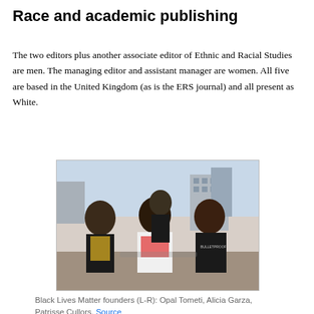Race and academic publishing
The two editors plus another associate editor of Ethnic and Racial Studies are men. The managing editor and assistant manager are women. All five are based in the United Kingdom (as is the ERS journal) and all present as White.
[Figure (photo): Photo of Black Lives Matter founders walking together outdoors. Three women in the foreground wearing BLM-related shirts, with people behind them and urban buildings in the background.]
Black Lives Matter founders (L-R): Opal Tometi, Alicia Garza, Patrisse Cullors. Source